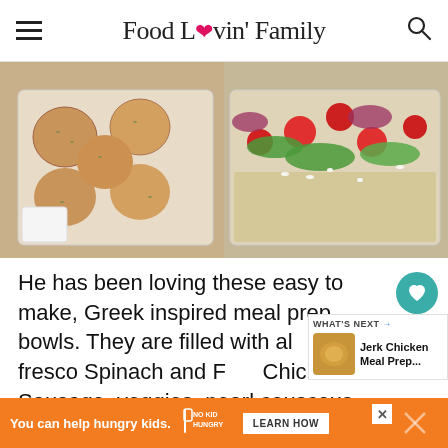Food Lovin' Family
[Figure (photo): Two meal prep containers side by side: left container has round chicken sausage balls with a white dipping sauce; right container has a Greek salad with cherry tomatoes, cucumber, red onion, feta cheese over pearl couscous.]
He has been loving these easy to make, Greek inspired meal prep bowls. They are filled with al fresco Spinach and Feta Chicken Sausage, veggies, pearl couscous and
[Figure (photo): What's Next promotional thumbnail: Jerk Chicken Meal Prep with a thumbnail image of the dish.]